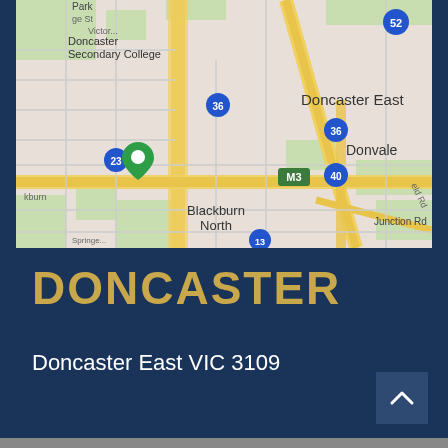[Figure (map): Google Maps screenshot showing Doncaster East area in Melbourne, Victoria, Australia. Shows streets, suburbs including Doncaster East, Donvale, Blackburn North, Doncaster Secondary College, major roads including M3 motorway, Junction Rd, route markers 23, 36, 40, 52. A green location pin marker is visible near Blackburn area.]
DONCASTER
Doncaster East VIC 3109